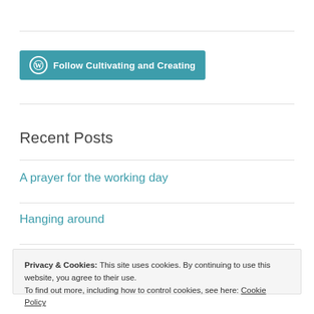[Figure (other): WordPress Follow button: teal rounded rectangle with WordPress circle logo and text 'Follow Cultivating and Creating']
Recent Posts
A prayer for the working day
Hanging around
Privacy & Cookies: This site uses cookies. By continuing to use this website, you agree to their use.
To find out more, including how to control cookies, see here: Cookie Policy
Close and accept